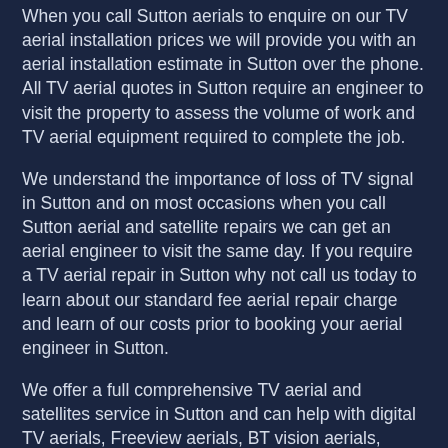When you call Sutton aerials to enquire on our TV aerial installation prices we will provide you with an aerial installation estimate in Sutton over the phone. All TV aerial quotes in Sutton require an engineer to visit the property to assess the volume of work and TV aerial equipment required to complete the job.
We understand the importance of loss of TV signal in Sutton and on most occasions when you call Sutton aerial and satellite repairs we can get an aerial engineer to visit the same day. If you require a TV aerial repair in Sutton why not call us today to learn about our standard fee aerial repair charge and learn of our costs prior to booking your aerial engineer in Sutton.
We offer a full comprehensive TV aerial and satellites service in Sutton and can help with digital TV aerials, Freeview aerials, BT vision aerials, Youview aerials, FM radio aerial, Dab aerials, Sky Q installations, Sky dish installs, Sky dish alignments, dish realignments, aerial repairs, sky dish repairs and all other TV aerial and